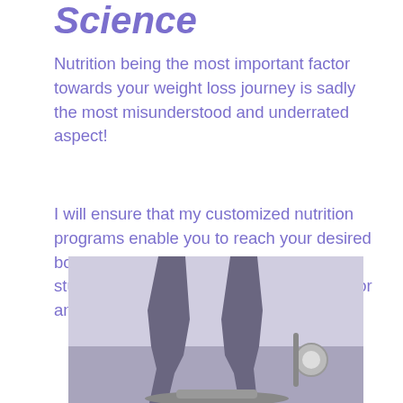Science
Nutrition being the most important factor towards your weight loss journey is sadly the most misunderstood and underrated aspect!
I will ensure that my customized nutrition programs enable you to reach your desired body composition faster, without being stuck in the time consuming food scales, or any compromises on the taste of your
[Figure (photo): Grayscale photo of a person's legs standing on a scale or exercise equipment, with gym/fitness context background.]